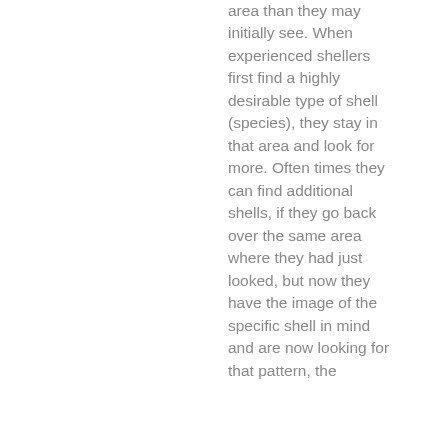area than they may initially see. When experienced shellers first find a highly desirable type of shell (species), they stay in that area and look for more. Often times they can find additional shells, if they go back over the same area where they had just looked, but now they have the image of the specific shell in mind and are now looking for that pattern, the